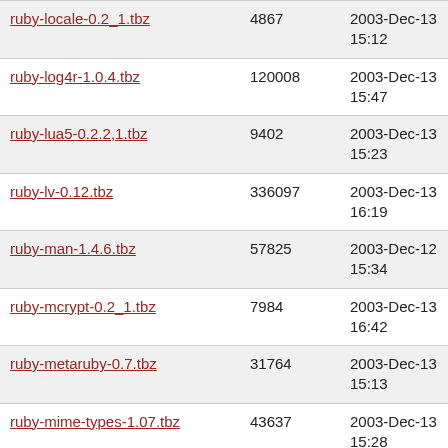| ruby-locale-0.2_1.tbz | 4867 | 2003-Dec-13 15:12 |
| ruby-log4r-1.0.4.tbz | 120008 | 2003-Dec-13 15:47 |
| ruby-lua5-0.2.2,1.tbz | 9402 | 2003-Dec-13 15:23 |
| ruby-lv-0.12.tbz | 336097 | 2003-Dec-13 16:19 |
| ruby-man-1.4.6.tbz | 57825 | 2003-Dec-12 15:34 |
| ruby-mcrypt-0.2_1.tbz | 7984 | 2003-Dec-13 16:42 |
| ruby-metaruby-0.7.tbz | 31764 | 2003-Dec-13 15:13 |
| ruby-mime-types-1.07.tbz | 43637 | 2003-Dec-13 15:28 |
| ruby-ming-0.2a.0.1.6.tbz | 34246 | 2003-Dec-19 03:39 |
| ruby-mmap-0.2.3.tbz | 28564 | 2003-Dec-14 02:25 |
| ruby-mnogosearch-1.0.3.tbz | 17680 | 2003-Dec-16 05:24 |